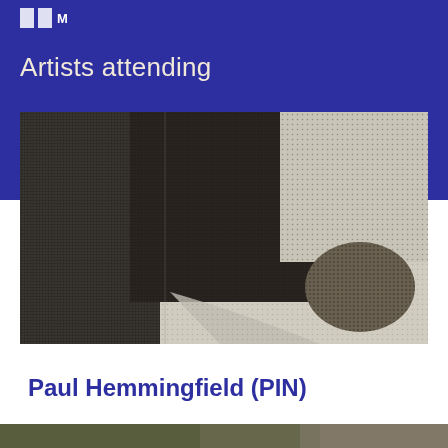Artists attending
[Figure (photo): Black and white halftone photograph of two people seen from behind, heads close together, one wearing a light-colored garment. The image has a dotted/halftone print quality.]
Paul Hemmingfield (PIN)
[Figure (photo): Partial view of another image at the very bottom of the page, cropped off.]